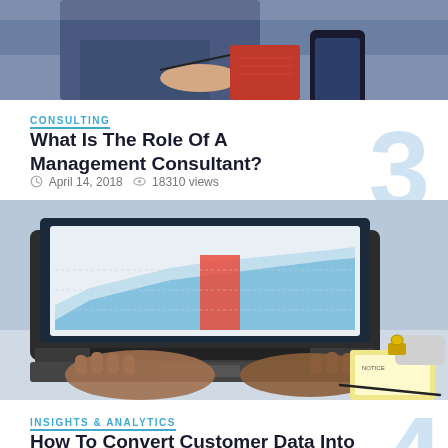[Figure (photo): Person in blue suit jacket writing notes at a desk, with a phone and red notebook visible]
CONSULTING
What Is The Role Of A Management Consultant?
April 14, 2018  18310 views
[Figure (photo): Hands typing on a laptop with a chart/graph visible on the screen showing blue area chart and a red bar; pen and clipboard visible on the desk]
INSIGHTS & ANALYTICS
How To Convert Customer Data Into Profits